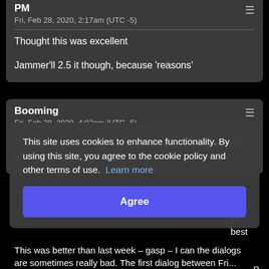PM
Fri, Feb 28, 2020, 2:17am (UTC -5)
Thought this was excellent

Jammer'll 2.5 it though, because 'reasons'
Booming
Fri, Feb 28, 2020, 4:02am (UTC -5)
The camera work was really good, the lighting. Scene after scenes just flows.
This site uses cookies to enhance functionality. By using this site, you agree to the cookie policy and other terms of use. Learn more
Agree
This was better than last week – gasp – I can the dialogs are sometimes really bad. The first dialog between Fri...